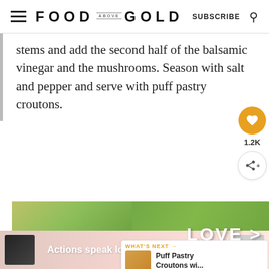FOOD ABOVE GOLD | SUBSCRIBE
stems and add the second half of the balsamic vinegar and the mushrooms. Season with salt and pepper and serve with puff pastry croutons.
[Figure (screenshot): Social sidebar with heart/like button showing 1.2K and share button]
[Figure (infographic): Advertisement banner with hands forming heart shape and text LOVE > HATE]
[Figure (infographic): What's Next widget showing Puff Pastry Croutons wi... with thumbnail]
[Figure (infographic): Bottom advertisement banner: Actions speak louder than words.]